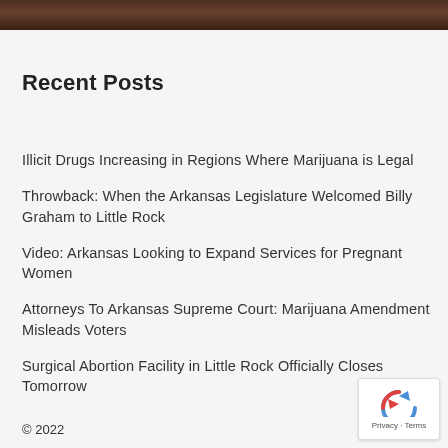[Figure (photo): Partial photo strip at top showing a person in a suit with bookshelves in background]
Recent Posts
Illicit Drugs Increasing in Regions Where Marijuana is Legal
Throwback: When the Arkansas Legislature Welcomed Billy Graham to Little Rock
Video: Arkansas Looking to Expand Services for Pregnant Women
Attorneys To Arkansas Supreme Court: Marijuana Amendment Misleads Voters
Surgical Abortion Facility in Little Rock Officially Closes Tomorrow
© 2022